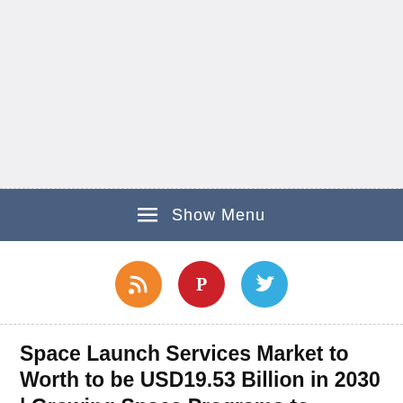[Figure (other): Advertisement / banner placeholder area with light gray background]
☰  Show Menu
[Figure (other): Social media icons row: RSS (orange), Pinterest (red), Twitter (blue)]
Space Launch Services Market to Worth to be USD19.53 Billion in 2030 | Growing Space Programs to Enhance Industry Progress, Exclusive